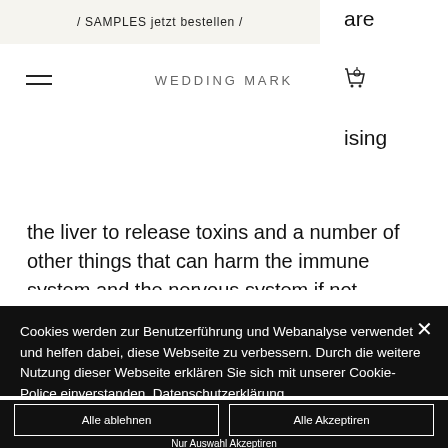/ SAMPLES jetzt bestellen /
WEDDING MARK
are
ormone
e
ion.
ising
the liver to release toxins and a number of other things that can harm the immune system and the nervous system if not treated carefully.
Cookies werden zur Benutzerführung und Webanalyse verwendet und helfen dabei, diese Webseite zu verbessern. Durch die weitere Nutzung dieser Webseite erklären Sie sich mit unserer Cookie-Police einverstanden. Datenschutzerklärung
Alle ablehnen
Alle Akzeptiren
Nur Auswahl Akzeptiren